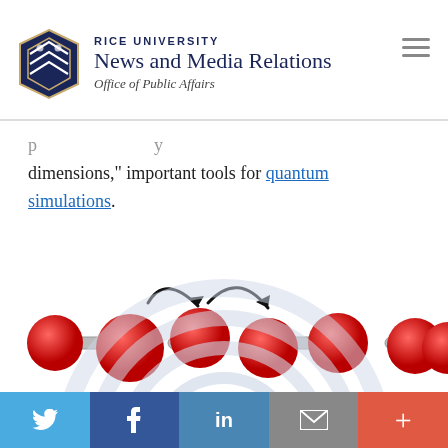RICE UNIVERSITY News and Media Relations Office of Public Affairs
dimensions," important tools for quantum simulations.
[Figure (illustration): Molecular chain of red spheres connected by gray cylindrical bonds, with black curved arrows indicating motion/rotation between the central sphere pairs. Below: concentric semicircular arcs in light gray/blue.]
Social share bar: Twitter, Facebook, LinkedIn, Email, More